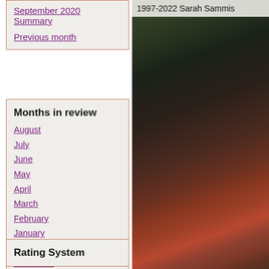September 2020 Summary
Previous month
Months in review
August
July
June
May
April
March
February
January
December
November
October
September
Rating System
[Figure (photo): Dark close-up photo of reddish-brown leaf texture with green dark background, occupying right side of page]
1997-2022 Sarah Sammis